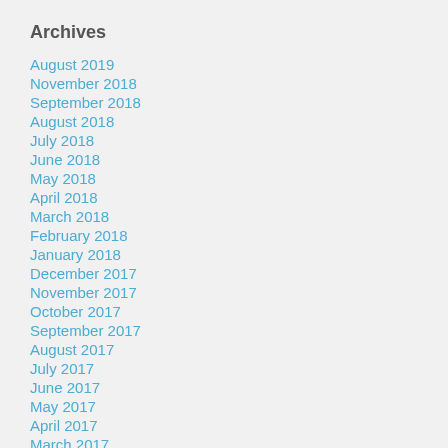Archives
August 2019
November 2018
September 2018
August 2018
July 2018
June 2018
May 2018
April 2018
March 2018
February 2018
January 2018
December 2017
November 2017
October 2017
September 2017
August 2017
July 2017
June 2017
May 2017
April 2017
March 2017